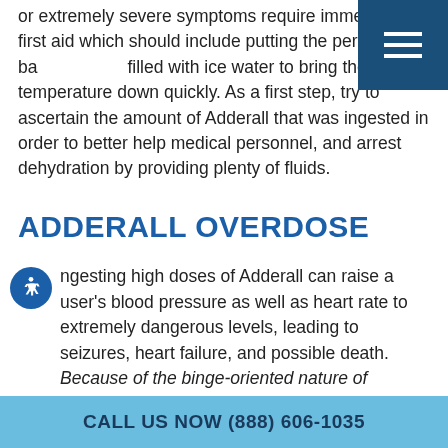or extremely severe symptoms require immediate first aid which should include putting the person in a bath filled with ice water to bring the temperature down quickly. As a first step, try to ascertain the amount of Adderall that was ingested in order to better help medical personnel, and arrest dehydration by providing plenty of fluids.
ADDERALL OVERDOSE
Ingesting high doses of Adderall can raise a user's blood pressure as well as heart rate to extremely dangerous levels, leading to seizures, heart failure, and possible death. Because of the binge-oriented nature of Adderall abuse, accidental overdose is a likely scenario. The Substance abuse and Health Services Administration (SAMHASA) states that there is an increasing pattern of Adderall—or methamphetamine—abuse among young
CALL US NOW (888) 606-1035